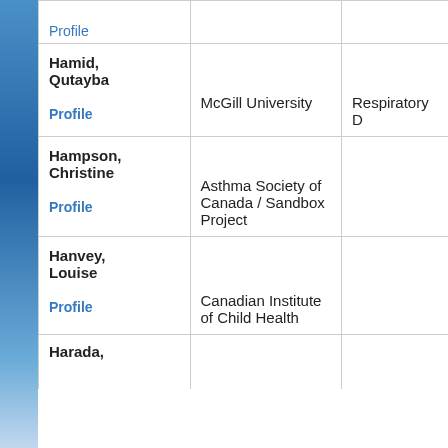| Name | Organization | Area |
| --- | --- | --- |
| Hamid, Qutayba
Profile | McGill University | Respiratory … |
| Hampson, Christine
Profile | Asthma Society of Canada / Sandbox Project |  |
| Hanvey, Louise
Profile | Canadian Institute of Child Health |  |
| Harada, |  |  |